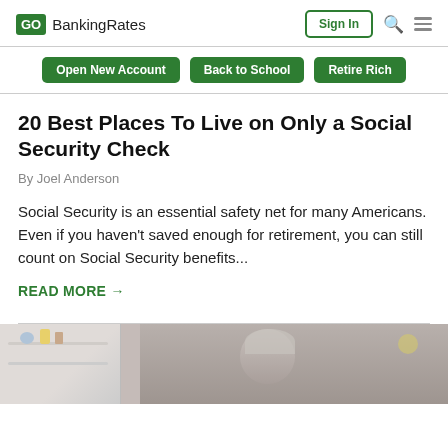GOBankingRates — Sign In
Open New Account  Back to School  Retire Rich
20 Best Places To Live on Only a Social Security Check
By Joel Anderson
Social Security is an essential safety net for many Americans. Even if you haven't saved enough for retirement, you can still count on Social Security benefits...
READ MORE →
[Figure (photo): Older adult person sitting at a desk or in a living room area, with shelves visible in the background.]